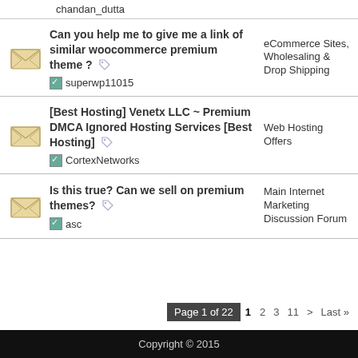chandan_dutta
Can you help me to give me a link of similar woocommerce premium theme ? superwp11015 | eCommerce Sites, Wholesaling & Drop Shipping
[Best Hosting] Venetx LLC ~ Premium DMCA Ignored Hosting Services [Best Hosting] CortexNetworks | Web Hosting Offers
Is this true? Can we sell on premium themes? asc | Main Internet Marketing Discussion Forum
Page 1 of 22  1  2  3  11  >  Last »
Copyright © 2015